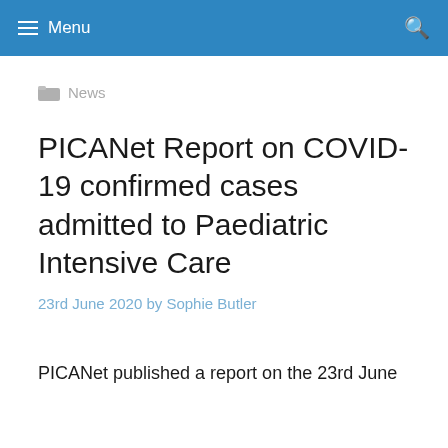Menu
News
PICANet Report on COVID-19 confirmed cases admitted to Paediatric Intensive Care
23rd June 2020 by Sophie Butler
PICANet published a report on the 23rd June